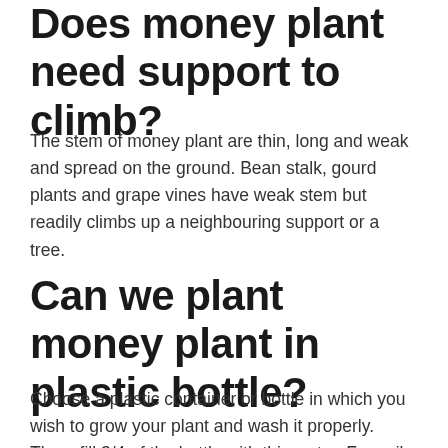Does money plant need support to climb?
The stem of money plant are thin, long and weak and spread on the ground. Bean stalk, gourd plants and grape vines have weak stem but readily climbs up a neighbouring support or a tree.
Can we plant money plant in plastic bottle?
Choose a plastic container or bottle in which you wish to grow your plant and wash it properly. Then, fill 3/4 of the bottle with this water. For soil as a medium, just fill the plastic bottle with soil...